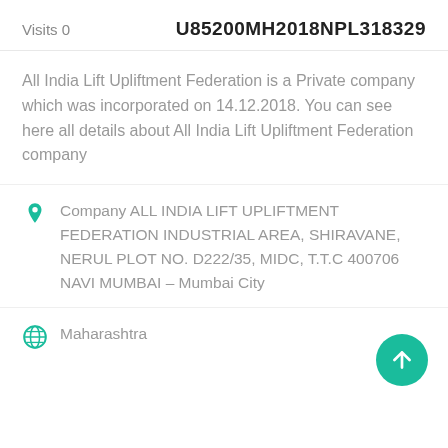Visits 0  U85200MH2018NPL318329
All India Lift Upliftment Federation is a Private company which was incorporated on 14.12.2018. You can see here all details about All India Lift Upliftment Federation company
Company ALL INDIA LIFT UPLIFTMENT FEDERATION INDUSTRIAL AREA, SHIRAVANE, NERUL PLOT NO. D222/35, MIDC, T.T.C 400706 NAVI MUMBAI – Mumbai City
Maharashtra